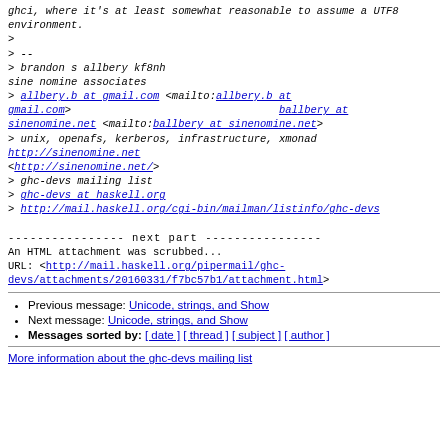ghci, where it's at least somewhat reasonable to assume a UTF8 environment.
>
> --
> brandon s allbery kf8nh
sine nomine associates
> allbery.b at gmail.com <mailto:allbery.b at gmail.com>                                    ballbery at sinenomine.net <mailto:ballbery at sinenomine.net>
> unix, openafs, kerberos, infrastructure, xmonad
http://sinenomine.net
<http://sinenomine.net/>
> ghc-devs mailing list
> ghc-devs at haskell.org
> http://mail.haskell.org/cgi-bin/mailman/listinfo/ghc-devs

---------------- next part ----------------
An HTML attachment was scrubbed...
URL: <http://mail.haskell.org/pipermail/ghc-devs/attachments/20160331/f7bc57b1/attachment.html>
Previous message: Unicode, strings, and Show
Next message: Unicode, strings, and Show
Messages sorted by: [ date ] [ thread ] [ subject ] [ author ]
More information about the ghc-devs mailing list